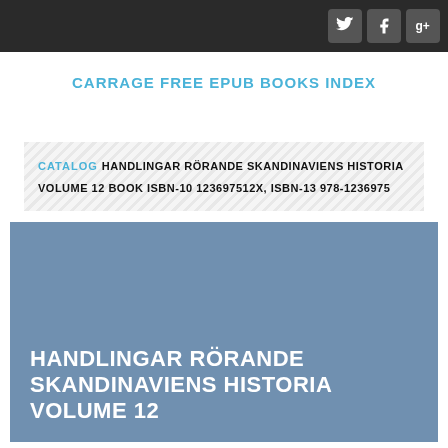CARRAGE FREE EPUB BOOKS INDEX
CATALOG HANDLINGAR RÖRANDE SKANDINAVIENS HISTORIA VOLUME 12 BOOK ISBN-10 123697512X, ISBN-13 978-1236975
[Figure (illustration): Book cover with blue-grey background showing title: HANDLINGAR RÖRANDE SKANDINAVIENS HISTORIA VOLUME 12 in white bold text]